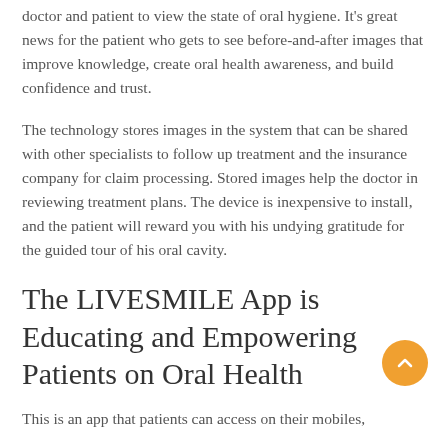doctor and patient to view the state of oral hygiene. It's great news for the patient who gets to see before-and-after images that improve knowledge, create oral health awareness, and build confidence and trust.
The technology stores images in the system that can be shared with other specialists to follow up treatment and the insurance company for claim processing. Stored images help the doctor in reviewing treatment plans. The device is inexpensive to install, and the patient will reward you with his undying gratitude for the guided tour of his oral cavity.
The LIVESMILE App is Educating and Empowering Patients on Oral Health
This is an app that patients can access on their mobiles,